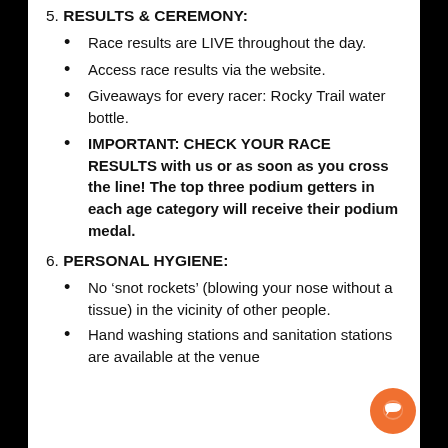5. RESULTS & CEREMONY:
Race results are LIVE throughout the day.
Access race results via the website.
Giveaways for every racer: Rocky Trail water bottle.
IMPORTANT: CHECK YOUR RACE RESULTS with us or as soon as you cross the line! The top three podium getters in each age category will receive their podium medal.
6. PERSONAL HYGIENE:
No ‘snot rockets’ (blowing your nose without a tissue) in the vicinity of other people.
Hand washing stations and sanitation stations are available at the venue